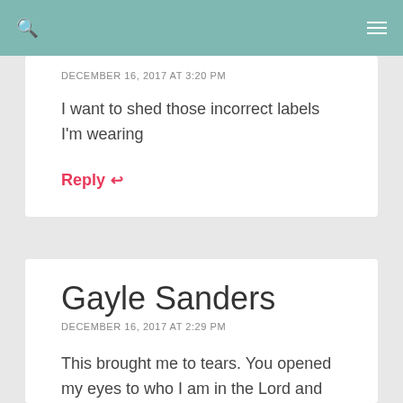navigation bar with search and menu icons
DECEMBER 16, 2017 AT 3:20 PM
I want to shed those incorrect labels I'm wearing
Reply ↩
Gayle Sanders
DECEMBER 16, 2017 AT 2:29 PM
This brought me to tears. You opened my eyes to who I am in the Lord and it's not what I've labeled myself all my life, 63 years! Thank